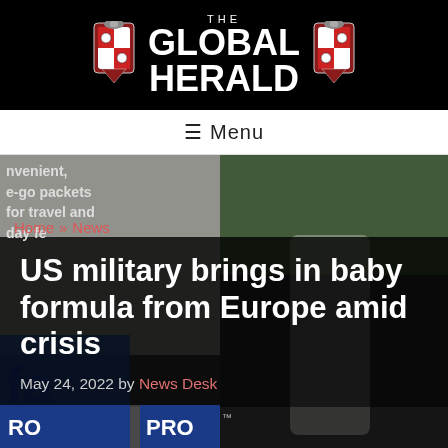[Figure (logo): The Global Herald logo with two heraldic crests flanking bold white text reading THE GLOBAL HERALD on a black background]
≡ Menu
[Figure (photo): Background photo of baby formula cans/packets, partially visible, blurred, with semi-transparent dark overlay. Left side shows partial text: nvenient, e-go packets for travel and day fe. Bottom shows partial blue label with 'fa' and 'RO PRO' text. A partial label reading 'Formula' is visible at the very bottom.]
Home » News
US military brings in baby formula from Europe amid crisis
May 24, 2022 by News Desk